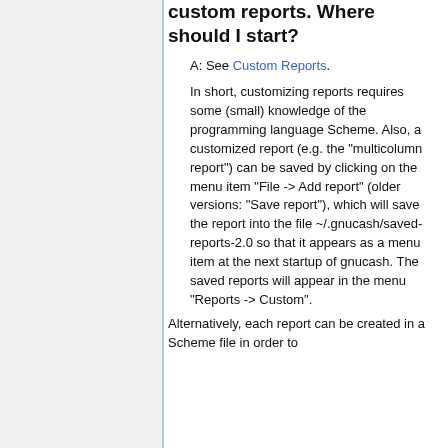custom reports. Where should I start?
A: See Custom Reports.
In short, customizing reports requires some (small) knowledge of the programming language Scheme. Also, a customized report (e.g. the "multicolumn report") can be saved by clicking on the menu item "File -> Add report" (older versions: "Save report"), which will save the report into the file ~/.gnucash/saved-reports-2.0 so that it appears as a menu item at the next startup of gnucash. The saved reports will appear in the menu "Reports -> Custom".
Alternatively, each report can be created in a Scheme file in order to